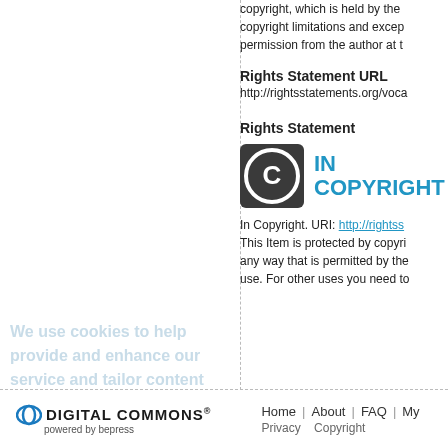copyright, which is held by the copyright limitations and exceptions permission from the author at t
Rights Statement URL
http://rightsstatements.org/voca
Rights Statement
[Figure (logo): In Copyright logo with copyright circle symbol and text IN COPYRIGHT in teal/blue]
In Copyright. URI: http://rightss
This Item is protected by copyright any way that is permitted by the use. For other uses you need to
[Figure (logo): Digital Commons powered by bepress logo]
Home | About | FAQ | My Privacy    Copyright